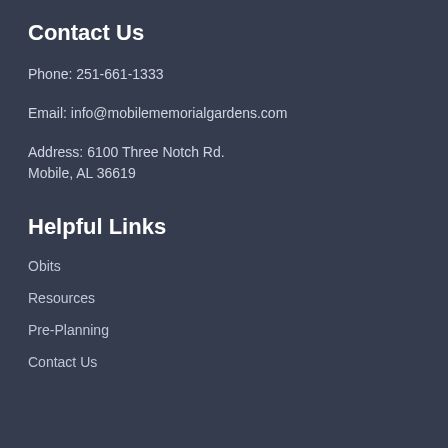Contact Us
Phone: 251-661-1333
Email: info@mobilememorialgardens.com
Address: 6100 Three Notch Rd.
Mobile, AL 36619
Helpful Links
Obits
Resources
Pre-Planning
Contact Us